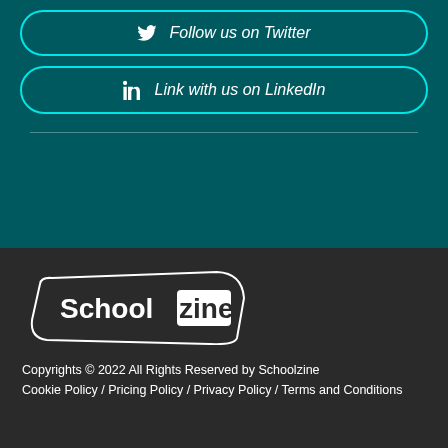Follow us on Twitter
Link with us on LinkedIn
[Figure (logo): Schoolzine logo — white text 'Schoolzine' inside a rounded quadrilateral outline]
Copyrights © 2022 All Rights Reserved by Schoolzine
Cookie Policy / Pricing Policy / Privacy Policy / Terms and Conditions